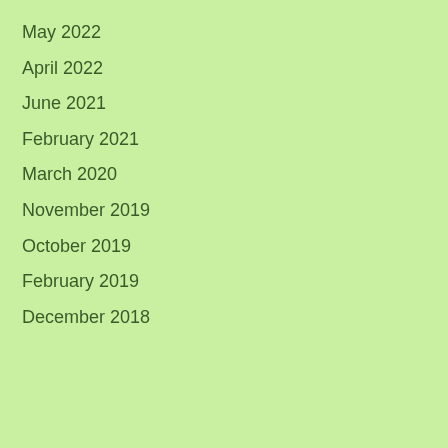May 2022
April 2022
June 2021
February 2021
March 2020
November 2019
October 2019
February 2019
December 2018